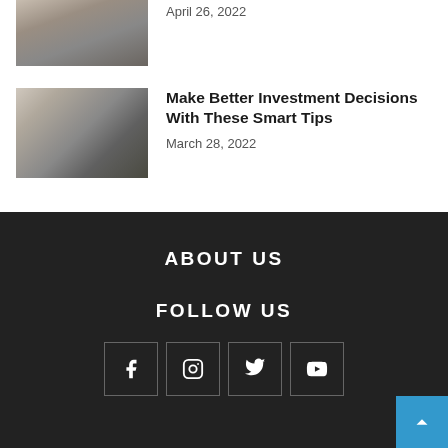[Figure (photo): Partial view of a photo showing a calculator and laptop on a desk]
April 26, 2022
[Figure (photo): Hands holding a card wallet with money, blue wallet visible]
Make Better Investment Decisions With These Smart Tips
March 28, 2022
ABOUT US
FOLLOW US
[Figure (infographic): Social media icons: Facebook, Instagram, Twitter, YouTube]